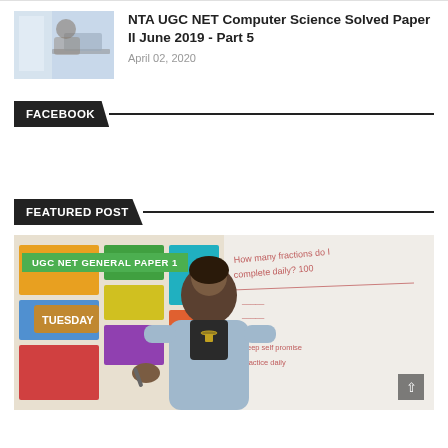[Figure (photo): Thumbnail image of person using a tablet/laptop near a window]
NTA UGC NET Computer Science Solved Paper II June 2019 - Part 5
April 02, 2020
FACEBOOK
FEATURED POST
[Figure (photo): A woman teacher in a light blue sweater standing in a classroom near a colorful bulletin board and a whiteboard with written text. A green badge reading 'UGC NET GENERAL PAPER 1' overlays the top-left of the image.]